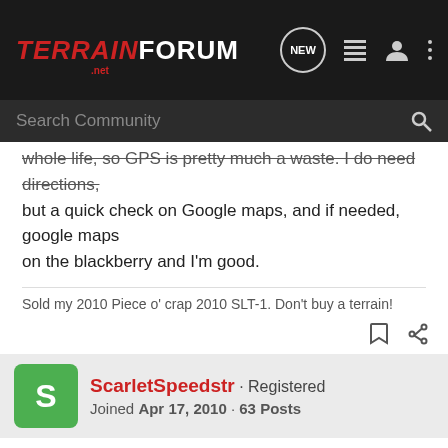TERRAIN FORUM .NET — Search Community
whole life, so GPS is pretty much a waste. I do need directions, but a quick check on Google maps, and if needed, google maps on the blackberry and I'm good.
Sold my 2010 Piece o' crap 2010 SLT-1. Don't buy a terrain!
ScarletSpeedstr · Registered
Joined Apr 17, 2010 · 63 Posts
#7 · Apr 19, 2010
I am considering this option as well. To be frank, I am having a